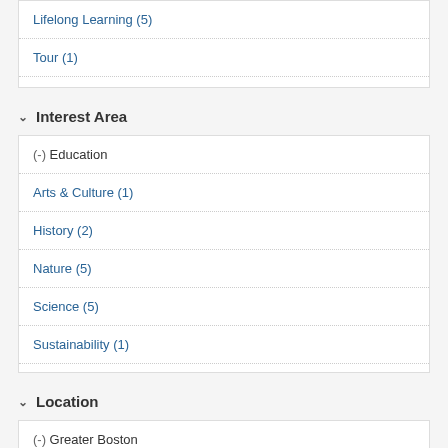Lifelong Learning (5)
Tour (1)
Interest Area
(-) Education
Arts & Culture (1)
History (2)
Nature (5)
Science (5)
Sustainability (1)
Location
(-) Greater Boston